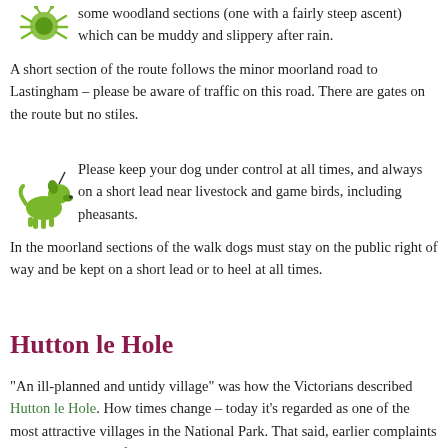some woodland sections (one with a fairly steep ascent) which can be muddy and slippery after rain. A short section of the route follows the minor moorland road to Lastingham – please be aware of traffic on this road. There are gates on the route but no stiles.
Please keep your dog under control at all times, and always on a short lead near livestock and game birds, including pheasants. In the moorland sections of the walk dogs must stay on the public right of way and be kept on a short lead or to heel at all times.
Hutton le Hole
"An ill-planned and untidy village" was how the Victorians described Hutton le Hole. How times change – today it's regarded as one of the most attractive villages in the National Park. That said, earlier complaints were probably justified. The attractive stone cottages in the village were once the overcrowded homes of weavers, smallholders and labourers, who grazed their geese, ducks, hens, horses and donkeys on the green. Manure was piled everywhere and the beck was the common sewer for all the village waste. Nowadays, wandering